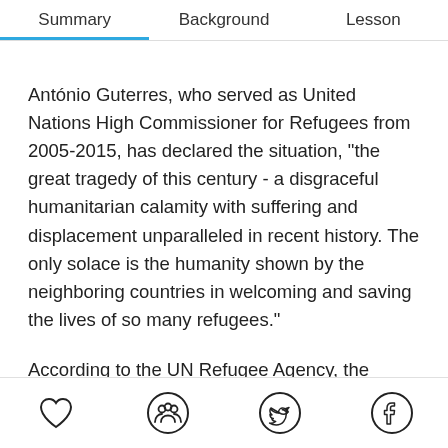Summary   Background   Lesson
António Guterres, who served as United Nations High Commissioner for Refugees from 2005-2015, has declared the situation, "the great tragedy of this century - a disgraceful humanitarian calamity with suffering and displacement unparalleled in recent history. The only solace is the humanity shown by the neighboring countries in welcoming and saving the lives of so many refugees."
According to the UN Refugee Agency, the European Union welcomed nearly a million Syrian refugees in